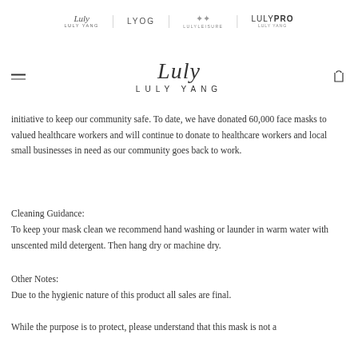LULY YANG | LYOG | LULYLEISURE | LULYPRO LULY YANG
[Figure (logo): Luly Yang script logo with LULY YANG text below]
initiative to keep our community safe. To date, we have donated 60,000 face masks to valued healthcare workers and will continue to donate to healthcare workers and local small businesses in need as our community goes back to work.
Cleaning Guidance:
To keep your mask clean we recommend hand washing or launder in warm water with unscented mild detergent. Then hang dry or machine dry.
Other Notes:
Due to the hygienic nature of this product all sales are final.
While the purpose is to protect, please understand that this mask is not a